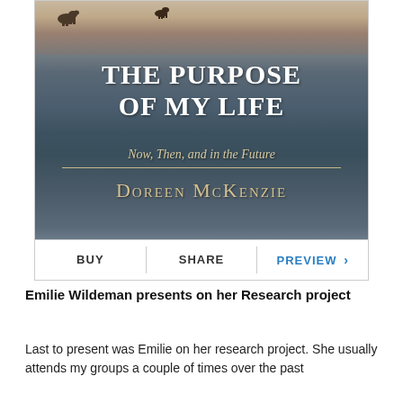[Figure (illustration): Book cover of 'The Purpose of My Life: Now, Then, and in the Future' by Doreen McKenzie. Dark blue-grey water/pebble background with horses visible at the top. White bold serif title text, italic subtitle in gold/cream, decorative divider line, and author name in small-caps gold text. Below the cover image is an action bar with BUY, SHARE, and PREVIEW buttons.]
Emilie Wildeman presents on her Research project
Last to present was Emilie on her research project. She usually attends my groups a couple of times over the past...